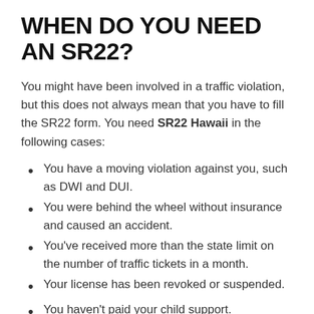WHEN DO YOU NEED AN SR22?
You might have been involved in a traffic violation, but this does not always mean that you have to fill the SR22 form. You need SR22 Hawaii in the following cases:
You have a moving violation against you, such as DWI and DUI.
You were behind the wheel without insurance and caused an accident.
You've received more than the state limit on the number of traffic tickets in a month.
Your license has been revoked or suspended.
You haven't paid your child support.
While most states have the SR22 form, some others like